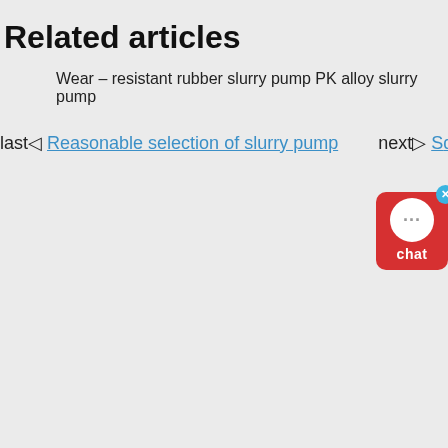Related articles
Wear – resistant rubber slurry pump PK alloy slurry pump
last◁ Reasonable selection of slurry pump    next▷ S… d…
[Figure (other): Red chat widget button with white speech bubble icon showing three dots and label 'chat', with a small cyan close (x) button in the top-right corner.]